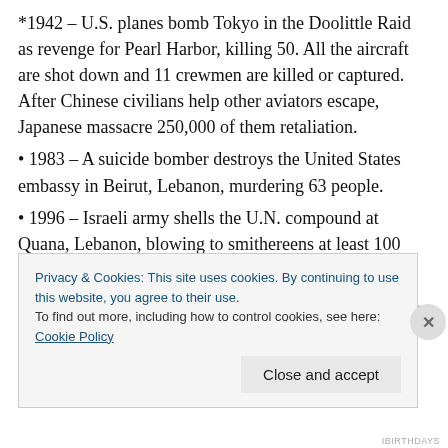*1942 – U.S. planes bomb Tokyo in the Doolittle Raid as revenge for Pearl Harbor, killing 50. All the aircraft are shot down and 11 crewmen are killed or captured. After Chinese civilians help other aviators escape, Japanese massacre 250,000 of them retaliation.
• 1983 – A suicide bomber destroys the United States embassy in Beirut, Lebanon, murdering 63 people.
• 1996 – Israeli army shells the U.N. compound at Quana, Lebanon, blowing to smithereens at least 100 civilian refugees who'd taken refuge there.
• 2007 – A series of bombings wreak havoc in Baghdad.
Privacy & Cookies: This site uses cookies. By continuing to use this website, you agree to their use.
To find out more, including how to control cookies, see here: Cookie Policy
IBIRTHDAYS